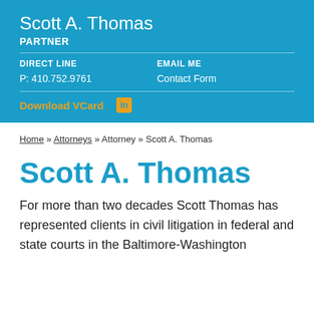Scott A. Thomas
PARTNER
DIRECT LINE
P: 410.752.9761
EMAIL ME
Contact Form
Download VCard
Home » Attorneys » Attorney » Scott A. Thomas
Scott A. Thomas
For more than two decades Scott Thomas has represented clients in civil litigation in federal and state courts in the Baltimore-Washington